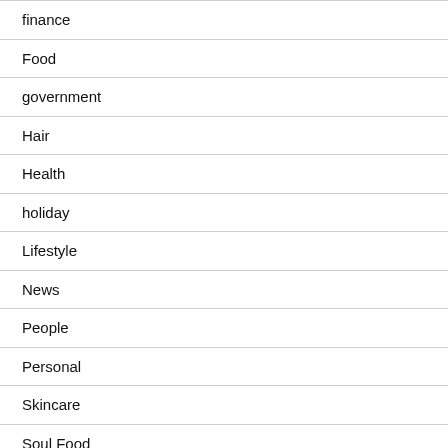finance
Food
government
Hair
Health
holiday
Lifestyle
News
People
Personal
Skincare
Soul Food